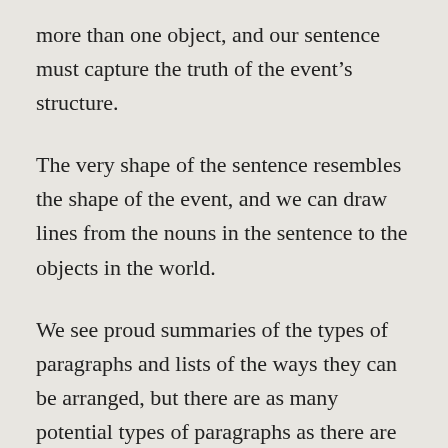more than one object, and our sentence must capture the truth of the event's structure.
The very shape of the sentence resembles the shape of the event, and we can draw lines from the nouns in the sentence to the objects in the world.
We see proud summaries of the types of paragraphs and lists of the ways they can be arranged, but there are as many potential types of paragraphs as there are types of things in the universe, and the way a paragraph can be arranged depends upon what the paragraph depicts. If the paragraph is about the view of the landscape, then the paragraph may contain